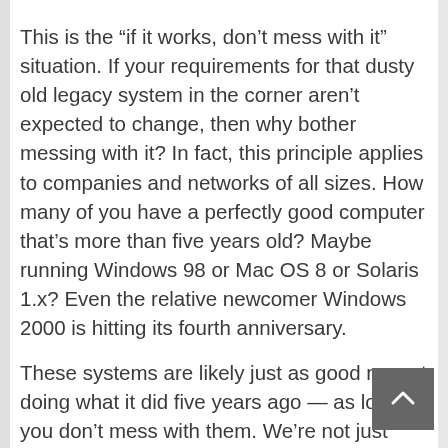This is the “if it works, don’t mess with it” situation. If your requirements for that dusty old legacy system in the corner aren’t expected to change, then why bother messing with it? In fact, this principle applies to companies and networks of all sizes. How many of you have a perfectly good computer that’s more than five years old? Maybe running Windows 98 or Mac OS 8 or Solaris 1.x? Even the relative newcomer Windows 2000 is hitting its fourth anniversary.
These systems are likely just as good now at doing what it did five years ago — as long as you don’t mess with them. We’re not just talking about the systems